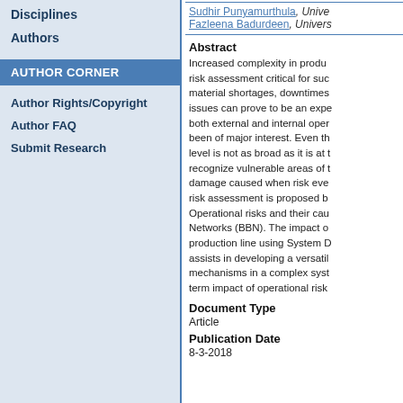Disciplines
Authors
AUTHOR CORNER
Author Rights/Copyright
Author FAQ
Submit Research
Sudhir Punyamurthula, Unive...
Fazleena Badurdeen, Univers...
Abstract
Increased complexity in produ... risk assessment critical for suc... material shortages, downtimes... issues can prove to be an expe... both external and internal oper... been of major interest. Even th... level is not as broad as it is at ... recognize vulnerable areas of ... damage caused when risk eve... risk assessment is proposed b... Operational risks and their cau... Networks (BBN). The impact o... production line using System D... assists in developing a versatil... mechanisms in a complex syst... term impact of operational risk...
Document Type
Article
Publication Date
8-3-2018